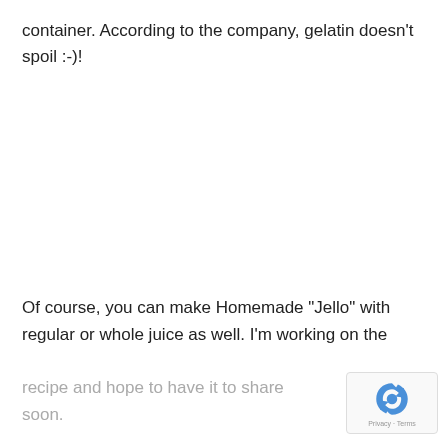container. According to the company, gelatin doesn't spoil :-)!
Of course, you can make Homemade "Jello" with regular or whole juice as well. I'm working on the
recipe and hope to have it to share soon.